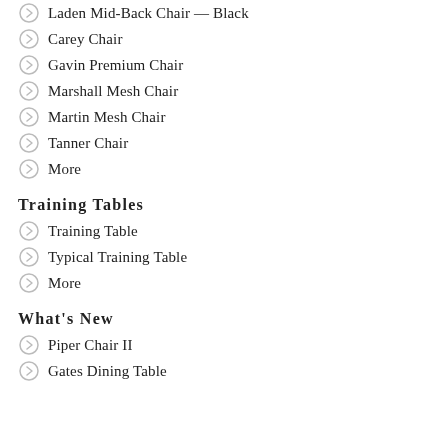Laden Mid-Back Chair — Black
Carey Chair
Gavin Premium Chair
Marshall Mesh Chair
Martin Mesh Chair
Tanner Chair
More
Training Tables
Training Table
Typical Training Table
More
What's New
Piper Chair II
Gates Dining Table